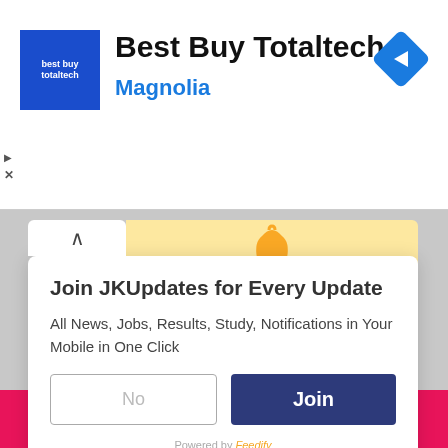[Figure (screenshot): Best Buy Totaltech advertisement banner with blue square logo, title 'Best Buy Totaltech', subtitle 'Magnolia' in blue, and a blue diamond navigation arrow icon on the right]
[Figure (screenshot): Notification popup modal with bell icon, title 'Join JKUpdates for Every Update', body text 'All News, Jobs, Results, Study, Notifications in Your Mobile in One Click', two buttons: 'No' (outline) and 'Join' (dark blue filled), and 'Powered by Feedify' at the bottom]
More than 5 Lakh Installs, 4.8 Ratings - Click to Install JKUpdates App Now!